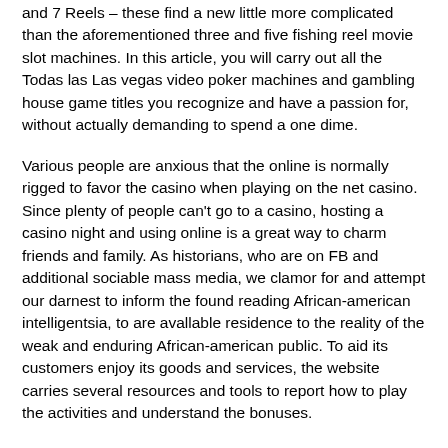and 7 Reels – these find a new little more complicated than the aforementioned three and five fishing reel movie slot machines. In this article, you will carry out all the Todas las Las vegas video poker machines and gambling house game titles you recognize and have a passion for, without actually demanding to spend a one dime.
Various people are anxious that the online is normally rigged to favor the casino when playing on the net casino. Since plenty of people can't go to a casino, hosting a casino night and using online is a great way to charm friends and family. As historians, who are on FB and additional sociable mass media, we clamor for and attempt our darnest to inform the found reading African-american intelligentsia, to are avallable residence to the reality of the weak and enduring African-american public. To aid its customers enjoy its goods and services, the website carries several resources and tools to report how to play the activities and understand the bonuses.